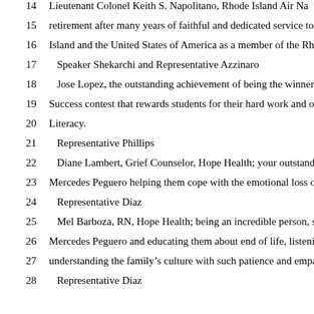14   Lieutenant Colonel Keith S. Napolitano, Rhode Island Air Na
15   retirement after many years of faithful and dedicated service to th
16   Island and the United States of America as a member of the Rhod
17   Speaker Shekarchi and Representative Azzinaro
18   Jose Lopez, the outstanding achievement of being the winner o
19   Success contest that rewards students for their hard work and outs
20   Literacy.
21   Representative Phillips
22   Diane Lambert, Grief Counselor, Hope Health; your outstandin
23   Mercedes Peguero helping them cope with the emotional loss of t
24   Representative Diaz
25   Mel Barboza, RN, Hope Health; being an incredible person, si
26   Mercedes Peguero and educating them about end of life, listening
27   understanding the family's culture with such patience and empath
28   Representative Diaz